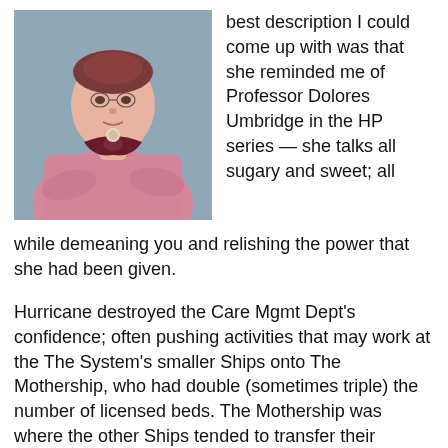[Figure (photo): A woman in a pink textured sweater with a dark red/maroon bow collar and a brooch, arms crossed, against a grey-blue background. Portrait/headshot style.]
best description I could come up with was that she reminded me of Professor Dolores Umbridge in the HP series — she talks all sugary and sweet; all while demeaning you and relishing the power that she had been given.
Hurricane destroyed the Care Mgmt Dept's confidence; often pushing activities that may work at the The System's smaller Ships onto The Mothership, who had double (sometimes triple) the number of licensed beds. The Mothership was where the other Ships tended to transfer their complex patients. The Mothership had world-renown physicians in pretty much every specialty